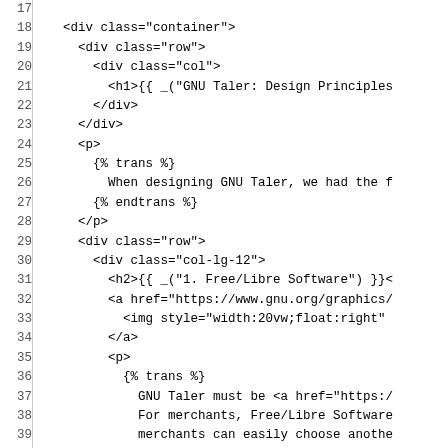Code listing showing HTML template lines 17-47 of a GNU Taler design principles page